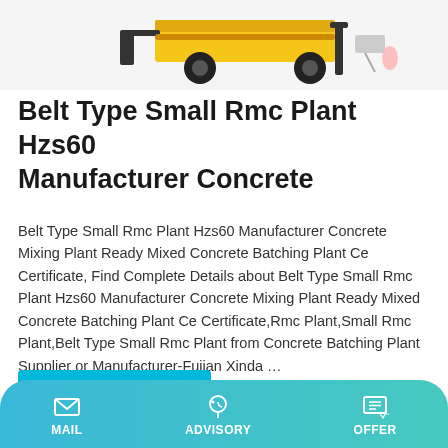[Figure (photo): Product photo of Belt Type Small Rmc Plant Hzs60 concrete batching plant equipment — yellow and black machinery on wheels with attachments, shown at top of page]
Belt Type Small Rmc Plant Hzs60 Manufacturer Concrete
Belt Type Small Rmc Plant Hzs60 Manufacturer Concrete Mixing Plant Ready Mixed Concrete Batching Plant Ce Certificate, Find Complete Details about Belt Type Small Rmc Plant Hzs60 Manufacturer Concrete Mixing Plant Ready Mixed Concrete Batching Plant Ce Certificate,Rmc Plant,Small Rmc Plant,Belt Type Small Rmc Plant from Concrete Batching Plant Supplier or Manufacturer-Fujian Xinda …
Learn More
MAIL   ADVISORY   OFFER